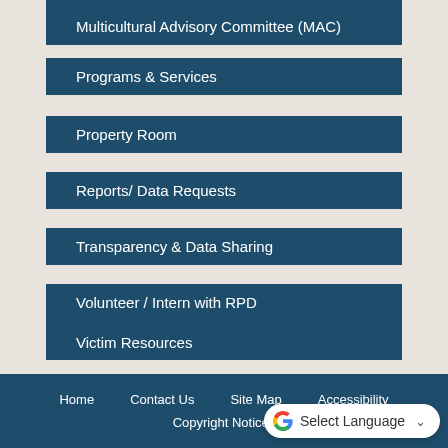Multicultural Advisory Committee (MAC)
Programs & Services
Property Room
Reports/ Data Requests
Transparency & Data Sharing
Volunteer / Intern with RPD
Victim Resources
Home  Contact Us  Site Map  Accessibility  Copyright Notices  GOVERNMENT WEBSITES BY CIVICPLUS®